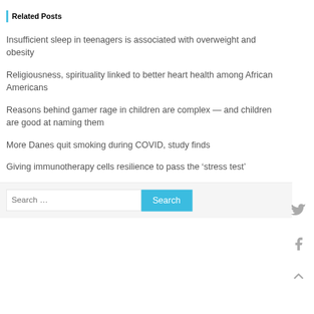Related Posts
Insufficient sleep in teenagers is associated with overweight and obesity
Religiousness, spirituality linked to better heart health among African Americans
Reasons behind gamer rage in children are complex — and children are good at naming them
More Danes quit smoking during COVID, study finds
Giving immunotherapy cells resilience to pass the ‘stress test’
New gene therapy shows promise for treating eye condition affecting millions across the globe